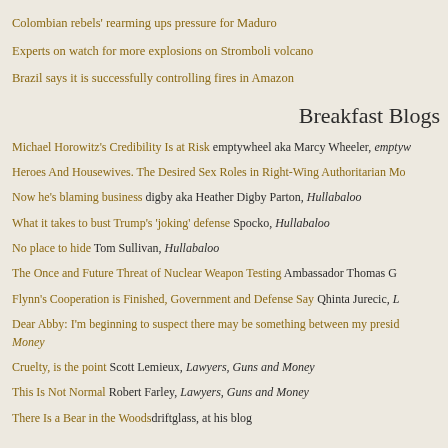Colombian rebels' rearming ups pressure for Maduro
Experts on watch for more explosions on Stromboli volcano
Brazil says it is successfully controlling fires in Amazon
Breakfast Blogs
Michael Horowitz's Credibility Is at Risk emptywheel aka Marcy Wheeler, emptyw
Heroes And Housewives. The Desired Sex Roles in Right-Wing Authoritarian Mo
Now he's blaming business digby aka Heather Digby Parton, Hullabaloo
What it takes to bust Trump's 'joking' defense Spocko, Hullabaloo
No place to hide Tom Sullivan, Hullabaloo
The Once and Future Threat of Nuclear Weapon Testing Ambassador Thomas G
Flynn's Cooperation is Finished, Government and Defense Say Qhinta Jurecic, L
Dear Abby: I'm beginning to suspect there may be something between my presid Money
Cruelty, is the point Scott Lemieux, Lawyers, Guns and Money
This Is Not Normal Robert Farley, Lawyers, Guns and Money
There Is a Bear in the Woods driftglass, at his blog